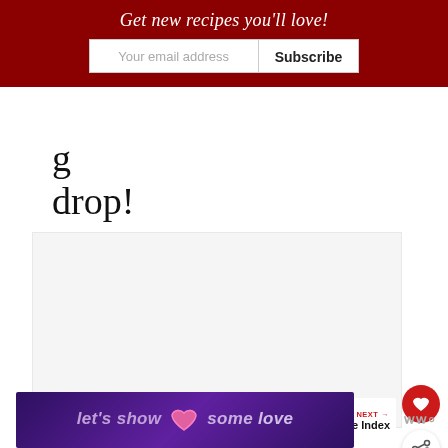Get new recipes you'll love!
g
drop!
[Figure (photo): Large light gray placeholder image area for a recipe photo]
[Figure (infographic): Bottom banner with purple gradient background reading 'let’s show it some love' with a pink heart icon]
[Figure (logo): WW logo in gray on the bottom right]